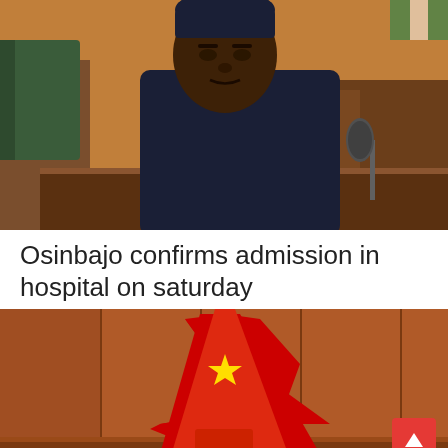[Figure (photo): A man in dark navy attire seated at a formal desk/podium, looking downward. Green chair visible to the left, wooden panel background, microphone to the right, Nigerian flag in background.]
Osinbajo confirms admission in hospital on saturday
[Figure (photo): Close-up of a Chinese flag (red with yellow star) displayed in what appears to be a formal meeting room with wooden paneling. A person's head is visible at the bottom of the frame.]